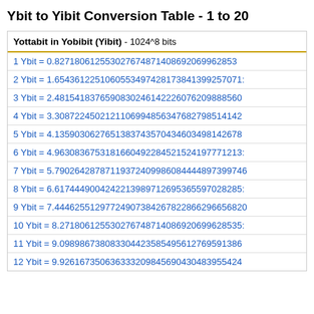Ybit to Yibit Conversion Table - 1 to 20
| Yottabit in Yobibit (Yibit) - 1024^8 bits |
| --- |
| 1 Ybit = 0.82718061255302767487140869206996285... |
| 2 Ybit = 1.6543612251060553497428173841399257071... |
| 3 Ybit = 2.4815418376590830246142226076209888560... |
| 4 Ybit = 3.3087224502121106994856347682798514142... |
| 5 Ybit = 4.1359030627651383743570434603498142678... |
| 6 Ybit = 4.9630836753181660492284521524197771213... |
| 7 Ybit = 5.7902642878711937240998608444489739974... |
| 8 Ybit = 6.6174449004242213989712695365597028285... |
| 9 Ybit = 7.4446255129772490738426782286629665682... |
| 10 Ybit = 8.27180612553027674871408692069962853... |
| 11 Ybit = 9.09898673808330442358549561276959138... |
| 12 Ybit = 9.92616735063633320984569043048395542... |